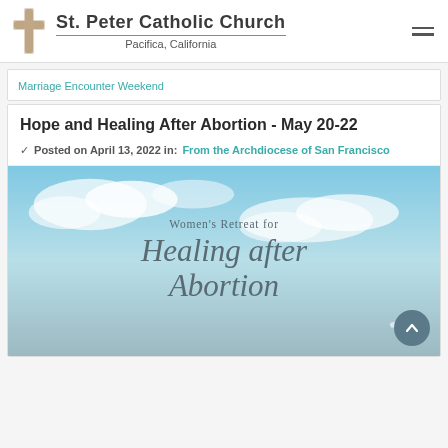St. Peter Catholic Church — Pacifica, California
Marriage Encounter Weekend
Hope and Healing After Abortion - May 20-22
✓ Posted on April 13, 2022 in: From the Archdiocese of San Francisco
[Figure (illustration): Women's Retreat for Healing after Abortion — flyer with sky/cloud background and italic serif text]